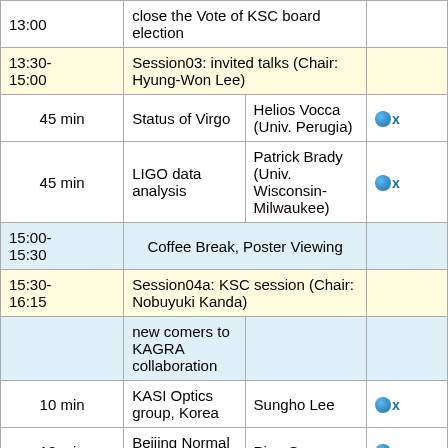| Time | Session/Talk | Speaker | Links |
| --- | --- | --- | --- |
| 13:30-15:00 | Session03: invited talks (Chair: Hyung-Won Lee) |  |  |
| 45 min | Status of Virgo | Helios Vocca (Univ. Perugia) | globe x |
| 45 min | LIGO data analysis | Patrick Brady (Univ. Wisconsin-Milwaukee) | globe x |
| 15:00-15:30 | Coffee Break, Poster Viewing |  |  |
| 15:30-16:15 | Session04a: KSC session (Chair: Nobuyuki Kanda) |  |  |
|  | new comers to KAGRA collaboration |  |  |
| 10 min | KASI Optics group, Korea | Sungho Lee | globe x |
| 10 min | Beijing Normal Univ. | Ping Guo | globe x |
| 5min | move to MIT | Kentaro Komori | globe x |